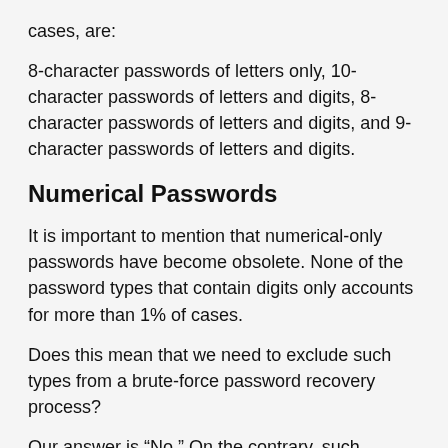cases, are:
8-character passwords of letters only, 10-character passwords of letters and digits, 8-character passwords of letters and digits, and 9-character passwords of letters and digits.
Numerical Passwords
It is important to mention that numerical-only passwords have become obsolete. None of the password types that contain digits only accounts for more than 1% of cases.
Does this mean that we need to exclude such types from a brute-force password recovery process?
Our answer is “No.” On the contrary, such patterns should necessarily be present in brute-force settings. There are only 100 million 8-digit passwords in total, and although this represents only 2.5% of all the passwords in the database (remember we have over 4 billion passwords in total), this